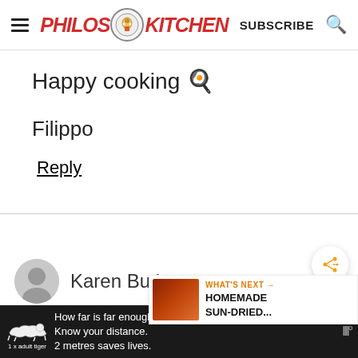Philos Kitchen — SUBSCRIBE
Happy cooking 🍳
Filippo
Reply
Karen Butler says
[Figure (screenshot): WHAT'S NEXT → HOMEMADE SUN-DRIED... promotional card with food image]
How far is far enough? Know your distance. 2 metres saves lives. 1 x adult tiger